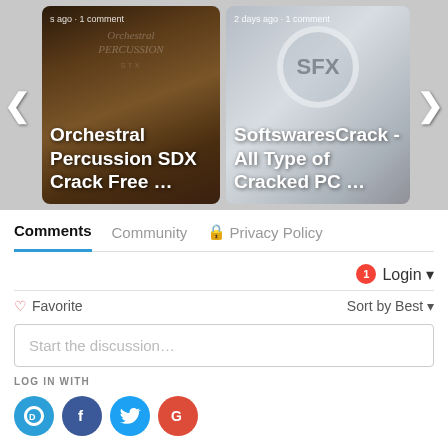[Figure (screenshot): Carousel showing two article cards: 'Orchestral Percussion SDX Crack Free ...' (s ago · 1 comment) and 'SoftswaresCrack - All Type of Cracked PC ...' (2 days ago · 1 comment), with left and right navigation arrows]
Comments  Community  🔒 Privacy Policy
1  Login ▾
♡ Favorite  Sort by Best ▾
Start the discussion...
LOG IN WITH
[Figure (illustration): Social login icons: Disqus (blue speech bubble), Facebook (dark blue circle with f), Twitter (light blue circle with bird), Google (red circle with G)]